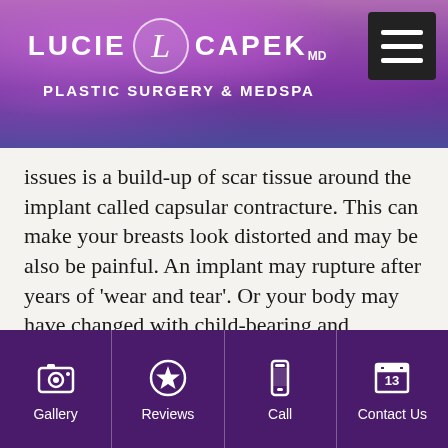[Figure (logo): Lucie Capek MD Plastic Surgery & MedSpa logo with purple floral background and hamburger menu button]
issues is a build-up of scar tissue around the implant called capsular contracture. This can make your breasts look distorted and may be also be painful. An implant may rupture after years of 'wear and tear'.  Or your body may have changed with child-bearing and menopause, leaving you with breasts that are too large, uncomfortable or droopy. The good news is that we have more options than ever to address these concerns.
The most obvious procedure for breast implant revision is removal and replacement with new implants. Newer implants, made of cohesive silicone gel and nick-named
[Figure (infographic): Bottom navigation bar with Gallery, Reviews, Call, and Contact Us icons on purple background]